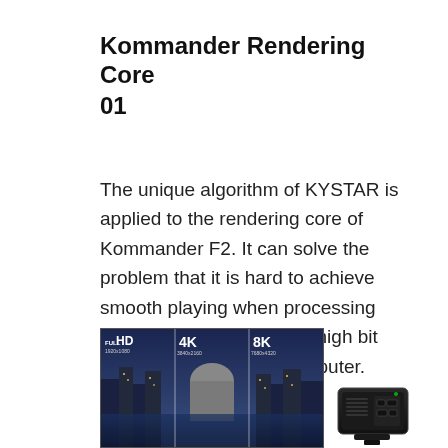Kommander Rendering Core 01
The unique algorithm of KYSTAR is applied to the rendering core of Kommander F2. It can solve the problem that it is hard to achieve smooth playing when processing high resolution video and high bit rate video via normal computer.
[Figure (photo): Comparison image showing Full HD (1920x1080), 4K (3840x2160), and 8K (7680x4320) resolution labels over a cityscape photo, alongside a small image of the Kommander F2 device.]